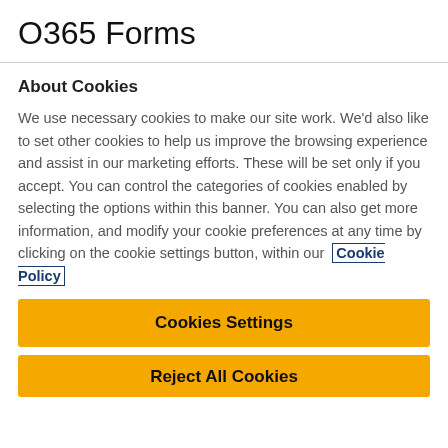O365 Forms
About Cookies
We use necessary cookies to make our site work. We'd also like to set other cookies to help us improve the browsing experience and assist in our marketing efforts. These will be set only if you accept. You can control the categories of cookies enabled by selecting the options within this banner. You can also get more information, and modify your cookie preferences at any time by clicking on the cookie settings button, within our Cookie Policy
Cookies Settings
Reject All Cookies